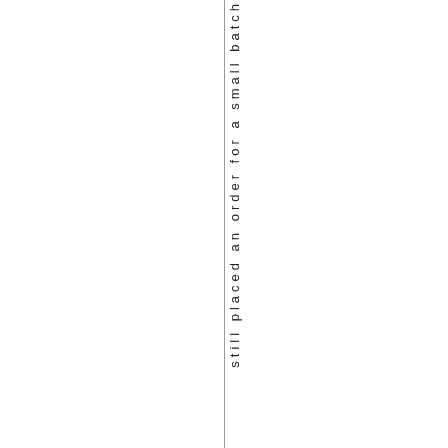still placed an order for a small batch